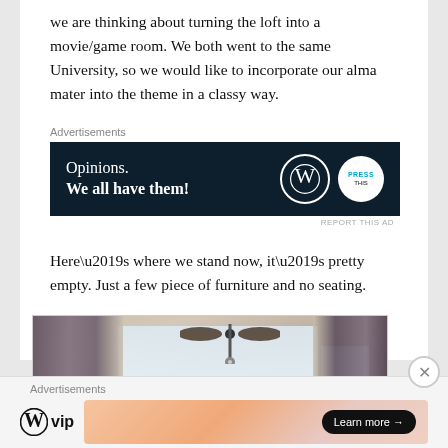we are thinking about turning the loft into a movie/game room. We both went to the same University, so we would like to incorporate our alma mater into the theme in a classy way.
[Figure (screenshot): Dark navy advertisement banner reading 'Opinions. We all have them!' with WordPress and news logos]
Here’s where we stand now, it’s pretty empty. Just a few piece of furniture and no seating.
[Figure (photo): Interior photo of an empty loft room with dark curtains, windows with natural light, ceiling fan, and beige walls]
[Figure (screenshot): Bottom advertisement bar with WordPress VIP logo and a gradient banner with Learn more button]